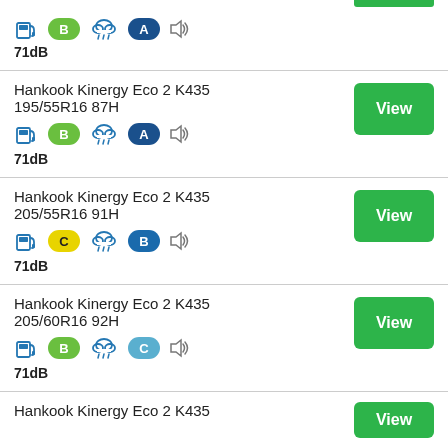[Figure (infographic): Partial tire listing card at top with green bar, fuel pump icon, green B badge, rain cloud icon, blue A badge, speaker icon, 71dB]
71dB
Hankook Kinergy Eco 2 K435
195/55R16 87H
[Figure (infographic): Tire rating icons: fuel pump, green B badge, rain cloud, blue A badge, speaker]
71dB
Hankook Kinergy Eco 2 K435
205/55R16 91H
[Figure (infographic): Tire rating icons: fuel pump, yellow C badge, rain cloud, blue B badge, speaker]
71dB
Hankook Kinergy Eco 2 K435
205/60R16 92H
[Figure (infographic): Tire rating icons: fuel pump, green B badge, rain cloud, light blue C badge, speaker]
71dB
Hankook Kinergy Eco 2 K435